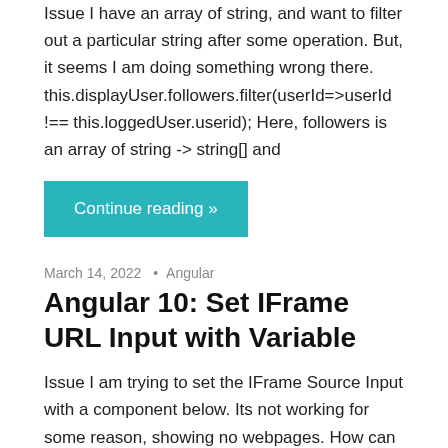Issue I have an array of string, and want to filter out a particular string after some operation. But, it seems I am doing something wrong there. this.displayUser.followers.filter(userId=>userId !== this.loggedUser.userid); Here, followers is an array of string -> string[] and
Continue reading »
March 14, 2022 • Angular
Angular 10: Set IFrame URL Input with Variable
Issue I am trying to set the IFrame Source Input with a component below. Its not working for some reason, showing no webpages. How can I set the